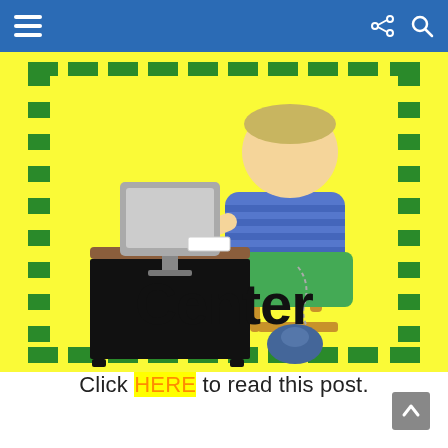≡ [share] [search]
[Figure (illustration): Cartoon illustration of a child sitting at a desk with a computer monitor, typed paper, and a blue mouse on the floor, on a yellow background with a green dashed border. Bold text below child reads 'Center'.]
Click HERE to read this post.